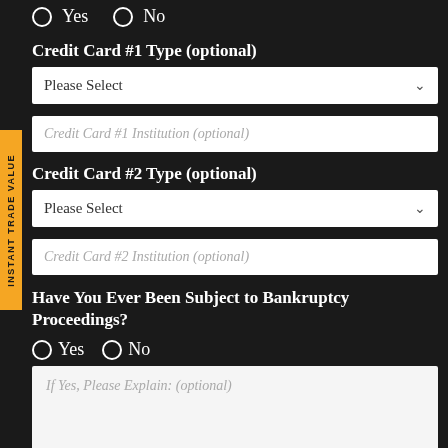Yes  No (radio buttons, partial/cropped at top)
Credit Card #1 Type (optional)
Please Select (dropdown)
Credit Card #1 Institution (optional)
Credit Card #2 Type (optional)
Please Select (dropdown)
Credit Card #2 Institution (optional)
Have You Ever Been Subject to Bankruptcy Proceedings?
Yes  No (radio buttons)
If Yes, Please Explain: (optional)